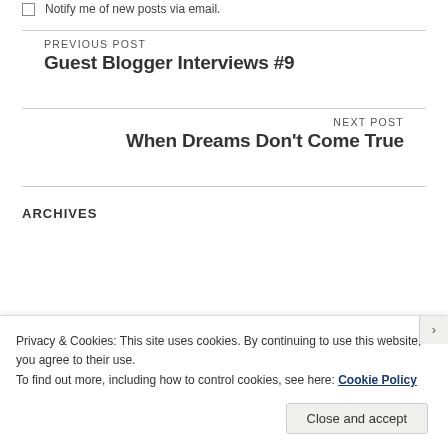Notify me of new posts via email.
PREVIOUS POST
Guest Blogger Interviews #9
NEXT POST
When Dreams Don't Come True
ARCHIVES
Privacy & Cookies: This site uses cookies. By continuing to use this website, you agree to their use.
To find out more, including how to control cookies, see here: Cookie Policy
Close and accept